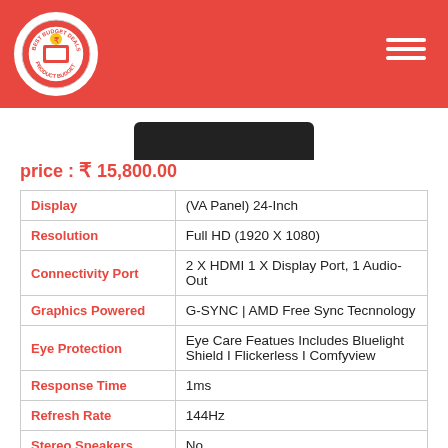Best Budget Deals Product Budget
price : ₹ 15,800.00
| Feature | Value |
| --- | --- |
| Display | (VA Panel) 24-Inch |
| Resolution | Full HD (1920 X 1080) |
| Connectivity Port | 2 X HDMI 1 X Display Port, 1 Audio-Out |
| Graphics Powered | G-SYNC | AMD Free Sync Tecnnology |
| Eye Protection | Eye Care Featues Includes Bluelight Shield I Flickerless I Comfyview |
| Response Time | 1ms |
| Refresh Rate | 144Hz |
| Stereo Speakers | No |
| VESA Wall Mount | Yes |
| Warranty | 3year |
| Customer Rating | 4.7 ★★★★☆ |